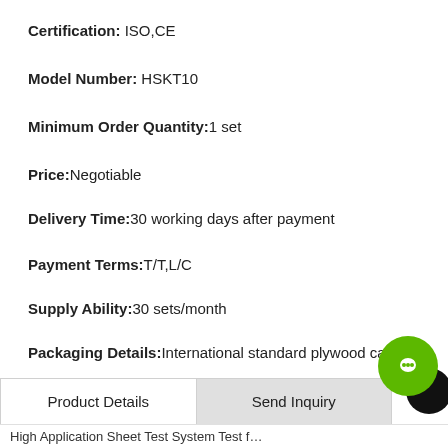Certification: ISO,CE
Model Number: HSKT10
Minimum Order Quantity:1 set
Price:Negotiable
Delivery Time:30 working days after payment
Payment Terms:T/T,L/C
Supply Ability:30 sets/month
Packaging Details:International standard plywood case
SEND INQUIRY
Product Details | Send Inquiry